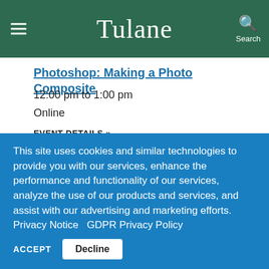Tulane
Photoshop: Making a Photo Composite
12:00 pm to 1:00 pm
Online
EVENT DETAILS »
Barre - Virtual Group Exercise
This site uses cookies and similar technologies to provide you with our services, enhance the performance and functionality of our services, analyze the use of our products and services, and assist with our advertising and marketing efforts. Privacy Notice  GDPR Privacy Policy